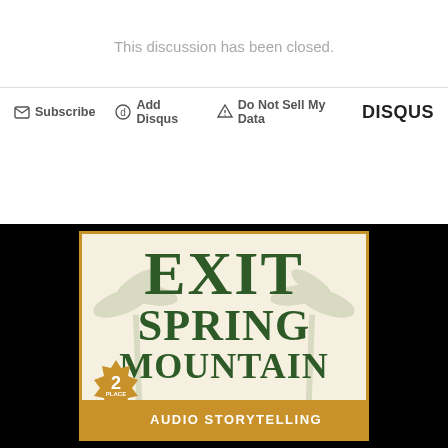This discussion has been closed.
[Figure (screenshot): Disqus comment widget footer bar with Subscribe, Add Disqus, Do Not Sell My Data links and DISQUS logo]
[Figure (illustration): Book cover for 'Exit Spring Mountain' showing large bold green serif text on cream background with palm tree silhouettes, gold border, a gold badge with '2' and 'PLACE', and a gold banner at bottom reading 'AUDIO STORYTELLING']